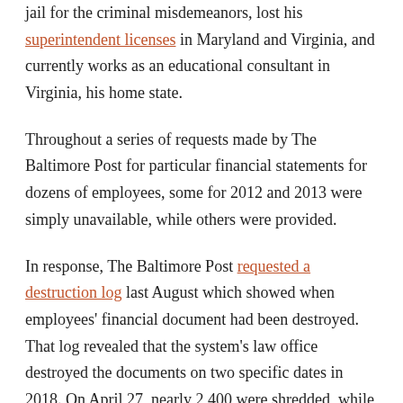jail for the criminal misdemeanors, lost his superintendent licenses in Maryland and Virginia, and currently works as an educational consultant in Virginia, his home state.
Throughout a series of requests made by The Baltimore Post for particular financial statements for dozens of employees, some for 2012 and 2013 were simply unavailable, while others were provided.
In response, The Baltimore Post requested a destruction log last August which showed when employees' financial document had been destroyed. That log revealed that the system's law office destroyed the documents on two specific dates in 2018. On April 27, nearly 2,400 were shredded, while 200 more were destroyed on August 1.